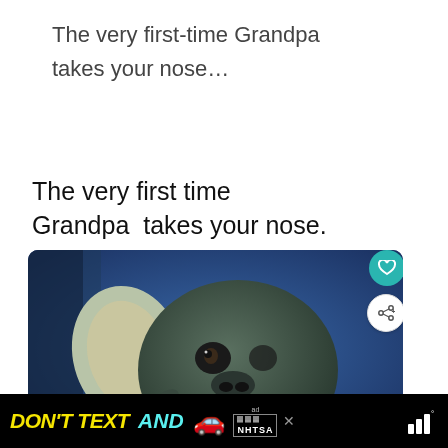The very first-time Grandpa takes your nose…
[Figure (screenshot): Screenshot of a meme card showing 'The very first time Grandpa takes your nose.' with an image of Baby Yoda (Grogu) looking surprised/shocked, overlaid with heart and share buttons, a 'What's Next' panel showing '50+ Funny Valentine...' and avatar thumbnails, plus an NHTSA 'Don't Text and Drive' advertisement banner at the bottom.]
The very first time Grandpa takes your nose.
DON'T TEXT AND [car emoji] ad NHTSA [wifi icon]°